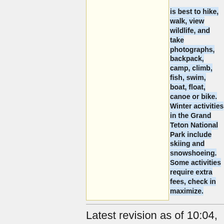[Figure (photo): A tall image box with cream/yellow border on the left side of the content area]
is best to hike, walk, view wildlife, and take photographs, backpack, camp, climb, fish, swim, boat, float, canoe or bike. Winter activities in the Grand Teton National Park include skiing and snowshoeing. Some activities require extra fees, check in maximize.
Latest revision as of 10:04, 12